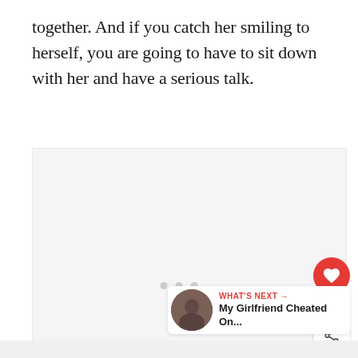together. And if you catch her smiling to herself, you are going to have to sit down with her and have a serious talk.
[Figure (other): Large blank/loading image placeholder area with three dots in the center indicating a loading carousel or ad placeholder. A red heart button (199 likes) and a share button appear to the right. A 'What's Next' card with thumbnail appears at the bottom right.]